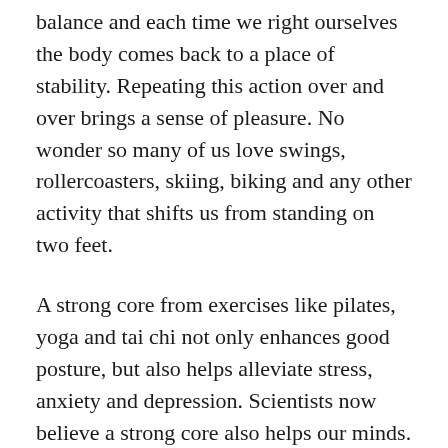balance and each time we right ourselves the body comes back to a place of stability. Repeating this action over and over brings a sense of pleasure. No wonder so many of us love swings, rollercoasters, skiing, biking and any other activity that shifts us from standing on two feet.
A strong core from exercises like pilates, yoga and tai chi not only enhances good posture, but also helps alleviate stress, anxiety and depression. Scientists now believe a strong core also helps our minds. As we age, our chances of falling increases. This is often due to a change in posture, perhaps because our core weakens and we become more stooped over. While scientists have not yet found the direct link between an upright